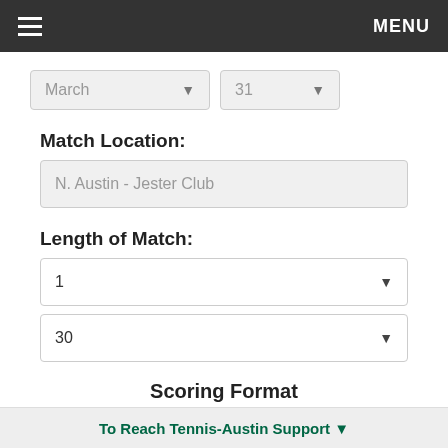≡  MENU
March  ▼   31  ▼
Match Location:
N. Austin - Jester Club
Length of Match:
1
30
Scoring Format
2 out of 3 sets
2 sets w/3rd set tie-breaker
To Reach Tennis-Austin Support ▼